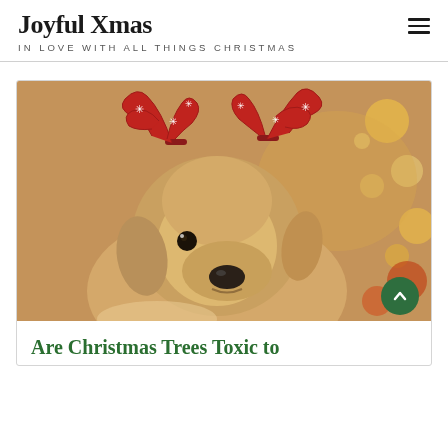Joyful Xmas — IN LOVE WITH ALL THINGS CHRISTMAS
[Figure (photo): A dog wearing red reindeer antler headband with white snowflake decorations, photographed in front of bokeh Christmas lights and ornaments.]
Are Christmas Trees Toxic to